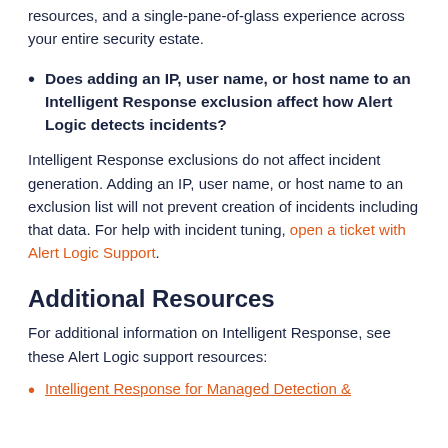resources, and a single-pane-of-glass experience across your entire security estate.
Does adding an IP, user name, or host name to an Intelligent Response exclusion affect how Alert Logic detects incidents?
Intelligent Response exclusions do not affect incident generation. Adding an IP, user name, or host name to an exclusion list will not prevent creation of incidents including that data. For help with incident tuning, open a ticket with Alert Logic Support.
Additional Resources
For additional information on Intelligent Response, see these Alert Logic support resources:
Intelligent Response for Managed Detection &